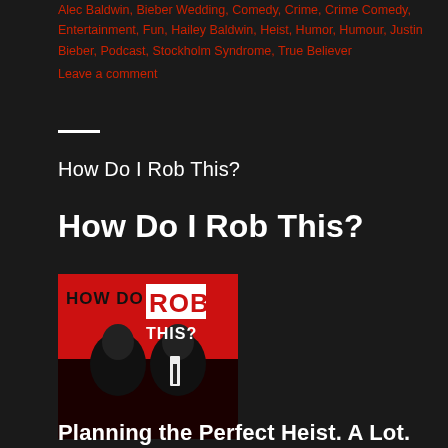Alec Baldwin, Bieber Wedding, Comedy, Crime, Crime Comedy, Entertainment, Fun, Hailey Baldwin, Heist, Humor, Humour, Justin Bieber, Podcast, Stockholm Syndrome, True Believer
Leave a comment
How Do I Rob This?
How Do I Rob This?
[Figure (illustration): Podcast cover art for 'How Do I Rob This?' showing two men in suits on a red background with the show title in bold text]
Planning the Perfect Heist. A Lot.